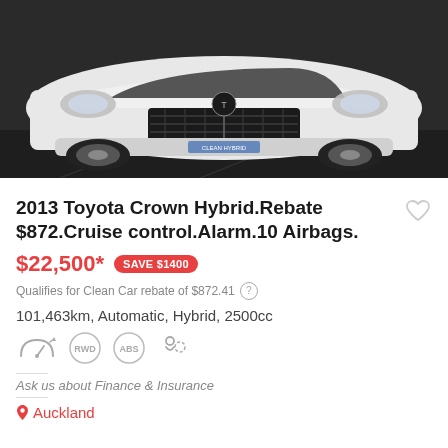[Figure (photo): Front view of a white 2013 Toyota Crown Hybrid sedan parked on a dark concrete surface]
2013 Toyota Crown Hybrid.Rebate $872.Cruise control.Alarm.10 Airbags.
$22,500* SAVE $1400
Qualifies for Clean Car rebate of $872.41 (?)
101,463km, Automatic, Hybrid, 2500cc
[Figure (infographic): Row of car feature icons: speedometer, RWD, ABS, airbag/person icon]
Ask us about Finance & Insurance
Auckland